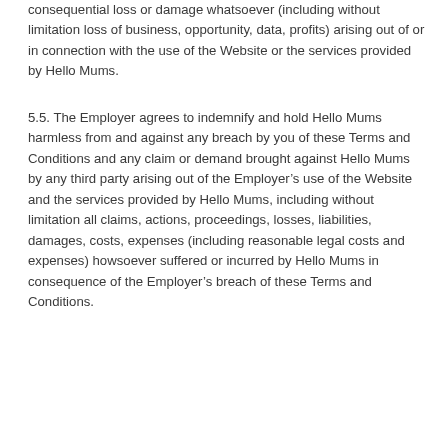consequential loss or damage whatsoever (including without limitation loss of business, opportunity, data, profits) arising out of or in connection with the use of the Website or the services provided by Hello Mums.
5.5. The Employer agrees to indemnify and hold Hello Mums harmless from and against any breach by you of these Terms and Conditions and any claim or demand brought against Hello Mums by any third party arising out of the Employer's use of the Website and the services provided by Hello Mums, including without limitation all claims, actions, proceedings, losses, liabilities, damages, costs, expenses (including reasonable legal costs and expenses) howsoever suffered or incurred by Hello Mums in consequence of the Employer's breach of these Terms and Conditions.